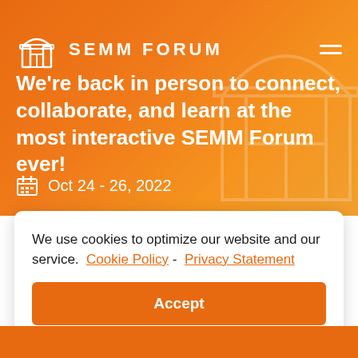SEMM FORUM
We're back in person to connect, collaborate, and learn at the most interactive SEMM Forum ever!
Oct 24 - 26, 2022
We use cookies to optimize our website and our service.  Cookie Policy -  Privacy Statement
Accept